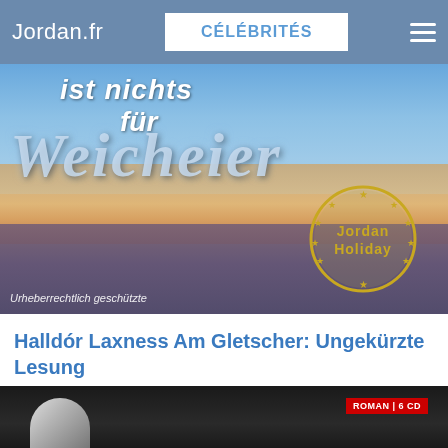Jordan.fr | CÉLÉBRITÉS
[Figure (photo): Book cover showing beach scene with text 'ist nichts für Weicheier' in stylized lettering and a Jordan Holiday stamp/seal. Text at bottom reads 'Urheberrechtlich geschützte'.]
Halldór Laxness Am Gletscher: Ungekürzte Lesung
10.57 EUR
[Figure (photo): Partial view of a second book cover, mostly black/dark with a red badge reading 'ROMAN | 6 CD' in the upper right corner.]